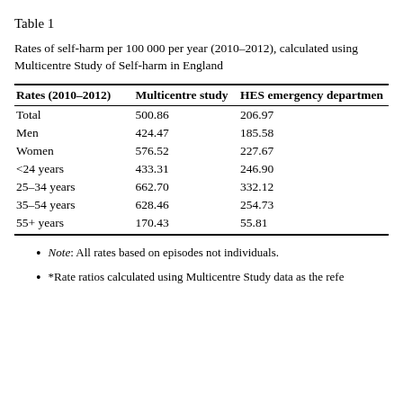Table 1
Rates of self-harm per 100 000 per year (2010–2012), calculated using Multicentre Study of Self-harm in England
| Rates (2010–2012) | Multicentre study | HES emergency department |
| --- | --- | --- |
| Total | 500.86 | 206.97 |
| Men | 424.47 | 185.58 |
| Women | 576.52 | 227.67 |
| <24 years | 433.31 | 246.90 |
| 25–34 years | 662.70 | 332.12 |
| 35–54 years | 628.46 | 254.73 |
| 55+ years | 170.43 | 55.81 |
Note: All rates based on episodes not individuals.
*Rate ratios calculated using Multicentre Study data as the reference.